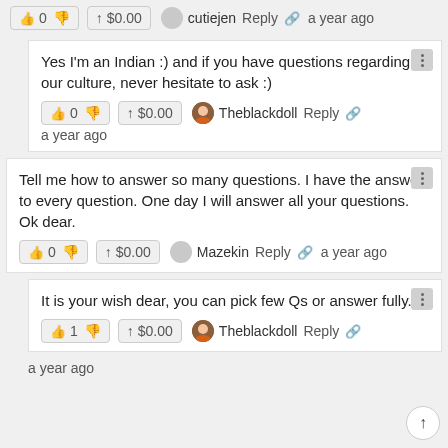👍 0 👎  ↑ $0.00  cutiejen  Reply  🔗  a year ago
Yes I'm an Indian :) and if you have questions regarding our culture, never hesitate to ask :)
👍 0 👎  ↑ $0.00  Theblackdoll  Reply  🔗  a year ago
Tell me how to answer so many questions. I have the answer to every question. One day I will answer all your questions. Ok dear.
👍 0 👎  ↑ $0.00  Mazekin  Reply  🔗  a year ago
It is your wish dear, you can pick few Qs or answer fully...
👍 1 👎  ↑ $0.00  Theblackdoll  Reply  🔗
a year ago